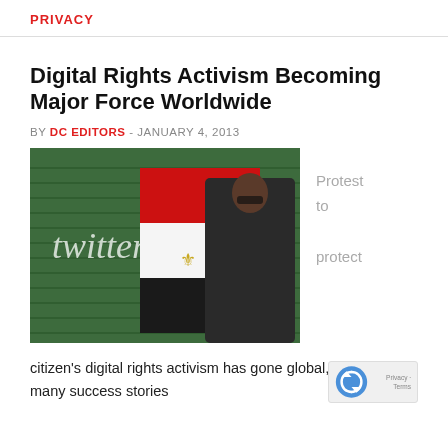PRIVACY
Digital Rights Activism Becoming Major Force Worldwide
BY DC EDITORS - JANUARY 4, 2013
[Figure (photo): Protest photo showing a person wrapped in an Egyptian flag standing in front of a green metal shutter with 'twitter' written in chalk/graffiti. Caption beside image reads 'Protest to protect'.]
Protest to protect
citizen's digital rights activism has gone global, w many success stories